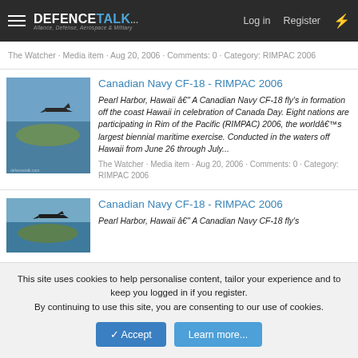DEFENCETALK — Log in | Register
The Watcher · Media item · Aug 20, 2006 · Comments: 0 · Category: RIMPAC 2006
Canadian Navy CF-18 - RIMPAC 2006
[Figure (photo): Canadian Navy CF-18 aircraft flying in formation off the coast of Hawaii]
Pearl Harbor, Hawaii — A Canadian Navy CF-18 fly's in formation off the coast Hawaii in celebration of Canada Day. Eight nations are participating in Rim of the Pacific (RIMPAC) 2006, the world's largest biennial maritime exercise. Conducted in the waters off Hawaii from June 26 through July...
The Watcher · Media item · Aug 20, 2006 · Comments: 0 · Category: RIMPAC 2006
Canadian Navy CF-18 - RIMPAC 2006
[Figure (photo): Another Canadian Navy CF-18 aircraft photo]
Pearl Harbor, Hawaii — A Canadian Navy CF-18 fly's
This site uses cookies to help personalise content, tailor your experience and to keep you logged in if you register. By continuing to use this site, you are consenting to our use of cookies.